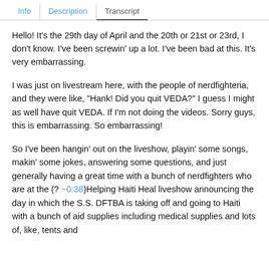Info | Description | Transcript
Hello! It's the 29th day of April and the 20th or 21st or 23rd, I don't know. I've been screwin' up a lot. I've been bad at this. It's very embarrassing.
I was just on livestream here, with the people of nerdfighteria, and they were like, "Hank! Did you quit VEDA?" I guess I might as well have quit VEDA. If I'm not doing the videos. Sorry guys, this is embarrassing. So embarrassing!
So I've been hangin' out on the liveshow, playin' some songs, makin' some jokes, answering some questions, and just generally having a great time with a bunch of nerdfighters who are at the (? ~0:38)Helping Haiti Heal liveshow announcing the day in which the S.S. DFTBA is taking off and going to Haiti with a bunch of aid supplies including medical supplies and lots of, like, tents and